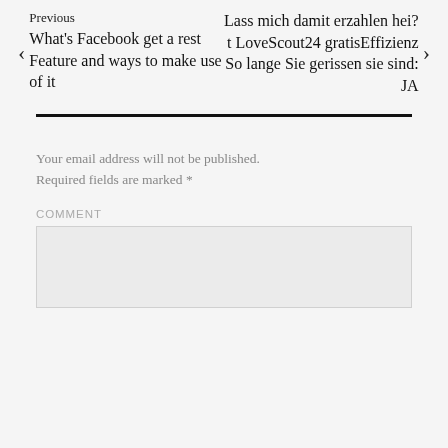Previous
What's Facebook get a rest Feature and ways to make use of it
Lass mich damit erzahlen hei?t LoveScout24 gratisEffizienz So lange Sie gerissen sie sind: JA
Your email address will not be published. Required fields are marked *
COMMENT